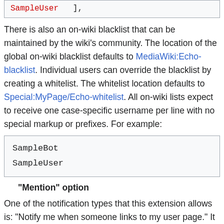[Figure (screenshot): Code box showing red-colored 'SampleUser' followed by '],']
There is also an on-wiki blacklist that can be maintained by the wiki's community. The location of the global on-wiki blacklist defaults to MediaWiki:Echo-blacklist. Individual users can override the blacklist by creating a whitelist. The whitelist location defaults to Special:MyPage/Echo-whitelist. All on-wiki lists expect to receive one case-specific username per line with no special markup or prefixes. For example:
[Figure (screenshot): Code box showing 'SampleBot' and 'SampleUser' on separate lines in monospace font]
"Mention" option
One of the notification types that this extension allows is: "Notify me when someone links to my user page." It might